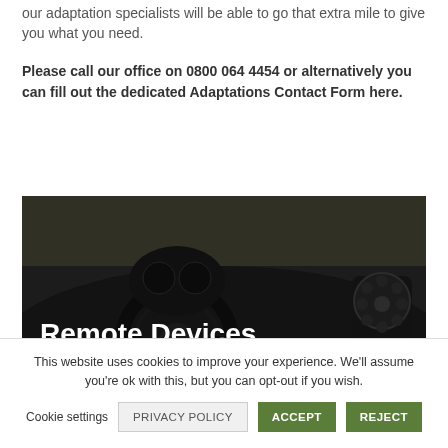our adaptation specialists will be able to go that extra mile to give you what you need.
Please call our office on 0800 064 4454 or alternatively you can fill out the dedicated Adaptations Contact Form here.
[Figure (photo): Car interior showing steering wheel and dashboard with dark overlay. White text overlay reads 'Remote Devices' and below 'Remote devices are systems that are specially'.]
This website uses cookies to improve your experience. We'll assume you're ok with this, but you can opt-out if you wish.